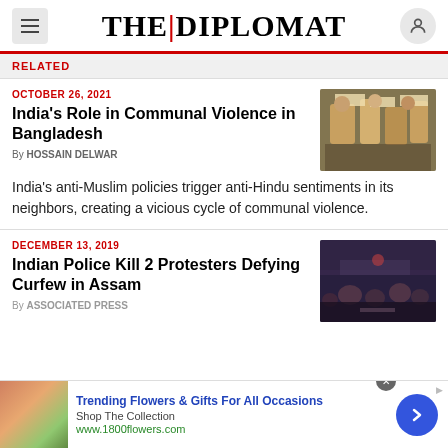THE|DIPLOMAT
OCTOBER 26, 2021
India's Role in Communal Violence in Bangladesh
By HOSSAIN DELWAR
[Figure (photo): People holding signs at a protest rally]
India's anti-Muslim policies trigger anti-Hindu sentiments in its neighbors, creating a vicious cycle of communal violence.
DECEMBER 13, 2019
Indian Police Kill 2 Protesters Defying Curfew in Assam
By ASSOCIATED PRESS
[Figure (photo): Large crowd at night protest/gathering]
Trending Flowers & Gifts For All Occasions
Shop The Collection
www.1800flowers.com